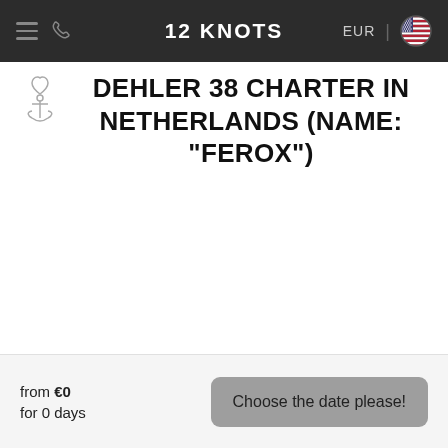12 KNOTS | EUR
DEHLER 38 CHARTER IN NETHERLANDS (NAME: "FEROX")
from €0
for 0 days
Choose the date please!